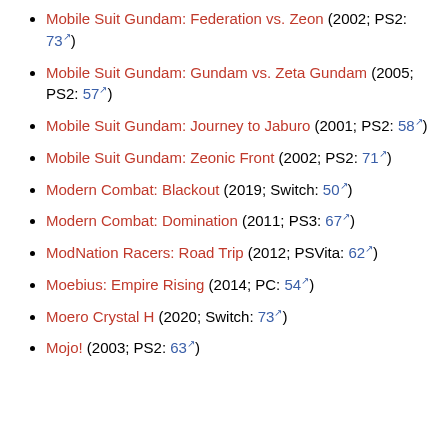Mobile Suit Gundam: Federation vs. Zeon (2002; PS2: 73)
Mobile Suit Gundam: Gundam vs. Zeta Gundam (2005; PS2: 57)
Mobile Suit Gundam: Journey to Jaburo (2001; PS2: 58)
Mobile Suit Gundam: Zeonic Front (2002; PS2: 71)
Modern Combat: Blackout (2019; Switch: 50)
Modern Combat: Domination (2011; PS3: 67)
ModNation Racers: Road Trip (2012; PSVita: 62)
Moebius: Empire Rising (2014; PC: 54)
Moero Crystal H (2020; Switch: 73)
Mojo! (2003; PS2: 63)